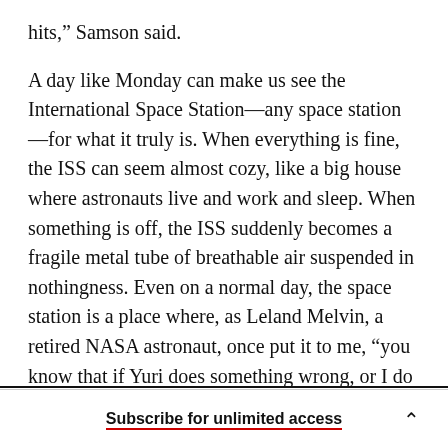hits,” Samson said.
A day like Monday can make us see the International Space Station—any space station—for what it truly is. When everything is fine, the ISS can seem almost cozy, like a big house where astronauts live and work and sleep. When something is off, the ISS suddenly becomes a fragile metal tube of breathable air suspended in nothingness. Even on a normal day, the space station is a place where, as Leland Melvin, a retired NASA astronaut, once put it to me, “you know that if Yuri does something wrong, or I do
Subscribe for unlimited access